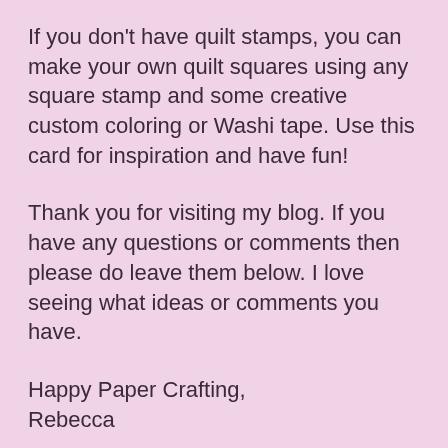If you don't have quilt stamps, you can make your own quilt squares using any square stamp and some creative custom coloring or Washi tape. Use this card for inspiration and have fun!
Thank you for visiting my blog. If you have any questions or comments then please do leave them below. I love seeing what ideas or comments you have.
Happy Paper Crafting,
Rebecca